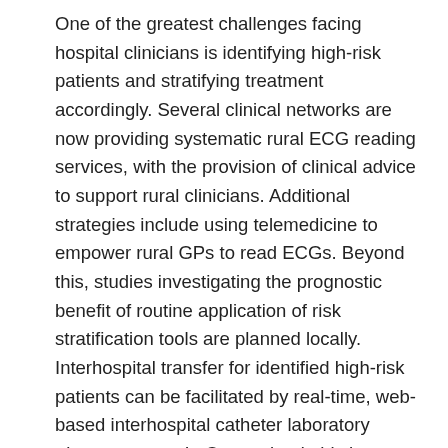One of the greatest challenges facing hospital clinicians is identifying high-risk patients and stratifying treatment accordingly. Several clinical networks are now providing systematic rural ECG reading services, with the provision of clinical advice to support rural clinicians. Additional strategies include using telemedicine to empower rural GPs to read ECGs. Beyond this, studies investigating the prognostic benefit of routine application of risk stratification tools are planned locally. Interhospital transfer for identified high-risk patients can be facilitated by real-time, web-based interhospital catheter laboratory triage systems. In Queensland, this has been associated with a dramatic improvement in timely appropriate transfer of patients from non-PCI-capable to PCI-capable hospitals.
Universal prescription of evidence-based secondary prevention therapies remains challenging and can only